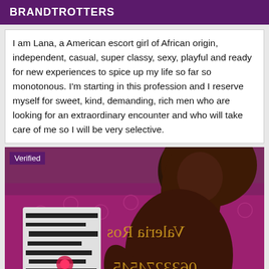BRANDTROTTERS
I am Lana, a American escort girl of African origin, independent, casual, super classy, sexy, playful and ready for new experiences to spice up my life so far so monotonous. I'm starting in this profession and I reserve myself for sweet, kind, demanding, rich men who are looking for an extraordinary encounter and who will take care of me so I will be very selective.
[Figure (photo): Photo of a woman with long wavy brown hair reclining on a purple tufted sofa, with a zebra-print pillow and watermark text overlay. A 'Verified' badge appears in the top-left corner.]